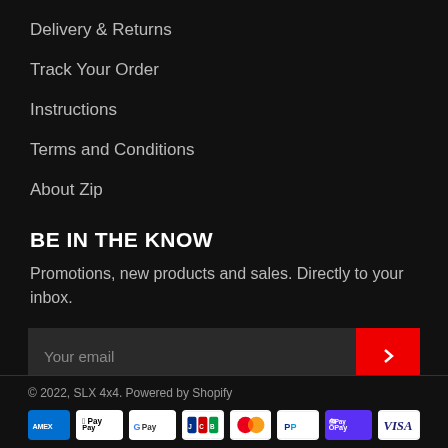Delivery & Returns
Track Your Order
Instructions
Terms and Conditions
About Zip
BE IN THE KNOW
Promotions, new products and sales. Directly to your inbox.
Your email
© 2022, SLX 4x4. Powered by Shopify